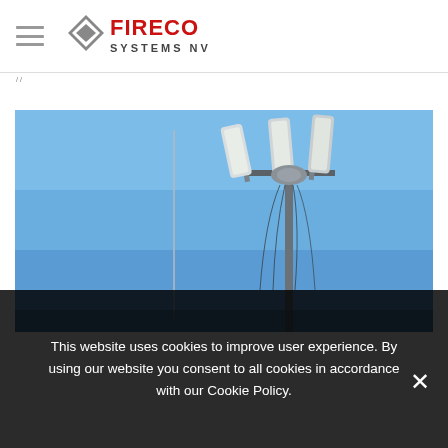FIRECO SYSTEMS NV
[Figure (photo): Industrial lighting or antenna equipment mounted on a pole against a clear blue sky. Multiple elongated lamp/transmitter units are mounted on a metal mast structure, with wiring visible. A separate tall thin pole is visible in the background.]
This website uses cookies to improve user experience. By using our website you consent to all cookies in accordance with our Cookie Policy.